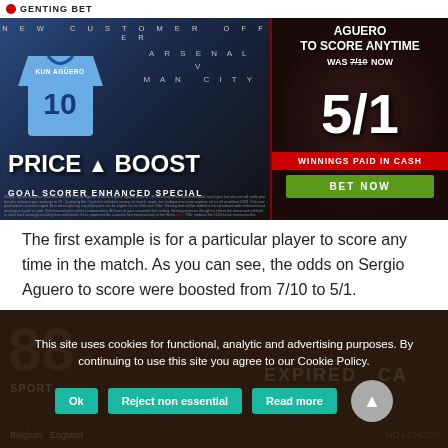[Figure (screenshot): GentingBet advertisement screenshot showing a price boost offer for Aguero to score anytime. Arsenal v Man City. Was 7/10 now 5/1. Winnings paid in cash. Bet Now button.]
The first example is for a particular player to score any time in the match. As you can see, the odds on Sergio Aguero to score were boosted from 7/10 to 5/1.
[Figure (screenshot): Partially visible bottom section showing a cookie consent overlay on a sports betting website. Cookie message and Ok, Reject non essential, Read more buttons visible.]
This site uses cookies for functional, analytic and advertising purposes. By continuing to use this site you agree to our Cookie Policy.